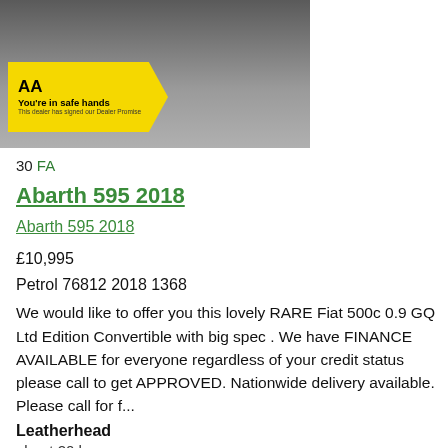[Figure (photo): Car listing photo showing a dark-colored car, with AA yellow badge overlay stating 'AA You're in safe hands This dealer has signed our Dealer Promise']
30 FA
Abarth 595 2018
Abarth 595 2018
£10,995
Petrol 76812 2018 1368
We would like to offer you this lovely RARE Fiat 500c 0.9 GQ Ltd Edition Convertible with big spec . We have FINANCE AVAILABLE for everyone regardless of your credit status please call to get APPROVED. Nationwide delivery available. Please call for f...
Leatherhead
about 20 hours ago